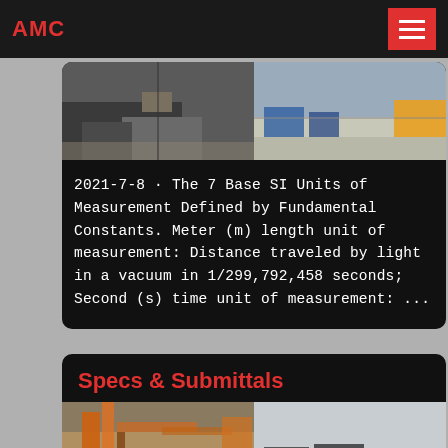AMC
[Figure (photo): Two-panel photo showing construction/industrial site scenes]
2021-7-8 · The 7 Base SI Units of Measurement Defined by Fundamental Constants. Meter (m) length unit of measurement: Distance traveled by light in a vacuum in 1/299,792,458 seconds; Second (s) time unit of measurement: ...
Specs & Submittals
[Figure (photo): Two-panel photo showing aggregate/mining equipment and material stockpiles]